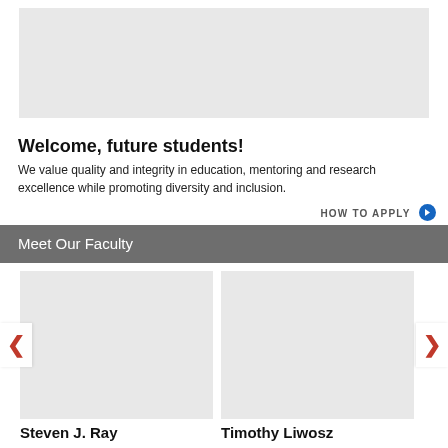[Figure (photo): Gray placeholder image at top of page]
Welcome, future students!
We value quality and integrity in education, mentoring and research excellence while promoting diversity and inclusion.
HOW TO APPLY
Meet Our Faculty
[Figure (photo): Gray placeholder photo for faculty member Steven J. Ray]
Steven J. Ray
[Figure (photo): Gray placeholder photo for faculty member Timothy Liwosz]
Timothy Liwosz